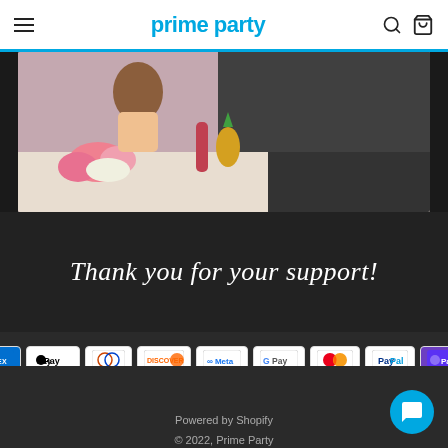prime party
[Figure (photo): People at a party table with bingo game, pink flowers, drinks, and festive decorations]
Thank you for your support!
[Figure (infographic): Payment method badges: American Express, Apple Pay, Diners Club, Discover, Meta Pay, Google Pay, Mastercard, PayPal, Shop Pay, Venmo, Visa]
Powered by Shopify
© 2022, Prime Party